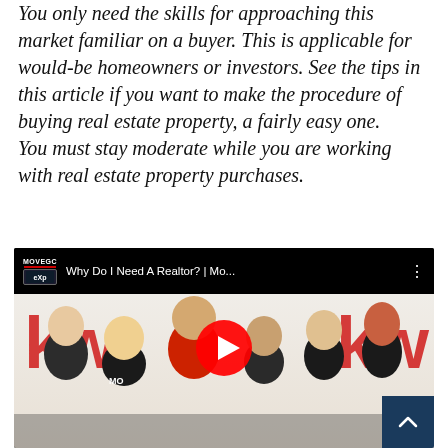You only need the skills for approaching this market familiar on a buyer. This is applicable for would-be homeowners or investors. See the tips in this article if you want to make the procedure of buying real estate property, a fairly easy one. You must stay moderate while you are working with real estate property purchases.
[Figure (screenshot): Embedded YouTube video thumbnail showing 'Why Do I Need A Realtor? | Mo...' with a group of people in front of Keller Williams (kw) branded background. A red YouTube play button is overlaid in the center. Channel icon shows MOVEGC and eXp branding.]